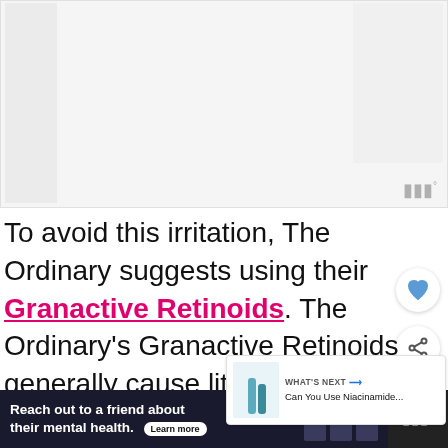[Figure (photo): Top image area with left vertical strip and right sidebar strip, likely showing a skincare product or related image. Wireframe/placeholder logo in bottom-right corner.]
To avoid this irritation, The Ordinary suggests using their Granactive Retinoids. The Ordinary’s Granactive Retinoids generally cause little to no irritation, and you can use them with niacinamide to boost anti-aging benefits.
[Figure (infographic): What’s Next panel showing a small product image with text ‘WHAT’S NEXT → Can You Use Niacinamide...’]
Reach out to a friend about their mental health. Learn more | SEIZE THE AWKWARD